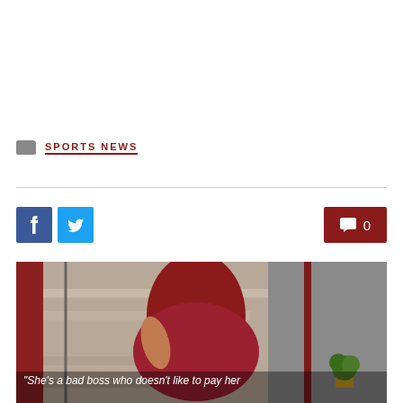SPORTS NEWS
[Figure (photo): Woman in dark red/maroon dress posing on stairs with hand on hip, staircase with metal railings and plant in background]
"She's a bad boss who doesn't like to pay her